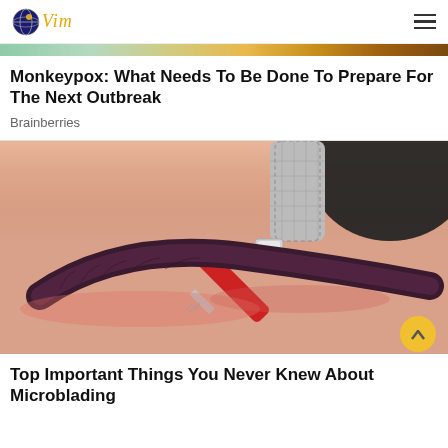Vim [logo]
[Figure (illustration): Decorative banner strip with teal, green, gold, and brown gradient tones]
Monkeypox: What Needs To Be Done To Prepare For The Next Outbreak
Brainberries
[Figure (photo): Close-up photo of a microblading procedure being performed on an eyebrow. A red-handled tool with a metallic tip is being applied to a dark, freshly microbladed eyebrow. A dark rounded object is visible in the upper right corner.]
Top Important Things You Never Knew About Microblading